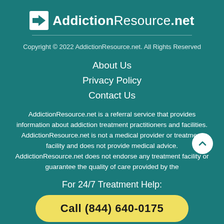[Figure (logo): AddictionResource.net logo with arrow icon and site name]
Copyright © 2022 AddictionResource.net. All Rights Reserved
About Us
Privacy Policy
Contact Us
AddictionResource.net is a referral service that provides information about addiction treatment practitioners and facilities. AddictionResource.net is not a medical provider or treatment facility and does not provide medical advice. AddictionResource.net does not endorse any treatment facility or guarantee the quality of care provided by the
For 24/7 Treatment Help:
Call (844) 640-0175